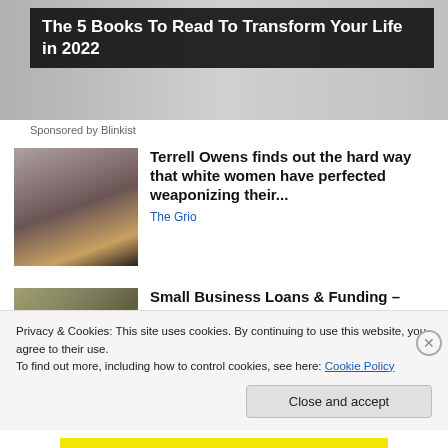[Figure (photo): Banner advertisement background image with two people]
The 5 Books To Read To Transform Your Life in 2022
Sponsored by Blinkist
[Figure (photo): Photo of Terrell Owens wearing sunglasses and a tan jacket]
Terrell Owens finds out the hard way that white women have perfected weaponizing their...
The Grio
[Figure (photo): Photo of stacks of US dollar bills]
Small Business Loans & Funding – Same-Day Decisions
Privacy & Cookies: This site uses cookies. By continuing to use this website, you agree to their use.
To find out more, including how to control cookies, see here: Cookie Policy
Close and accept